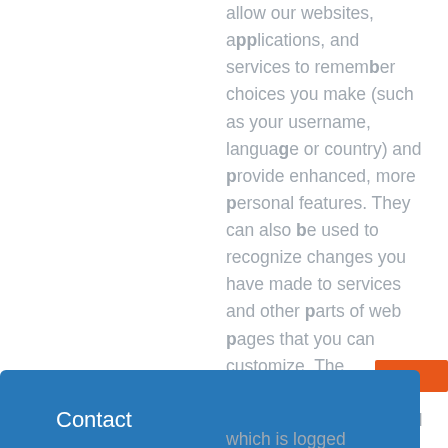allow our websites, applications, and services to remember choices you make (such as your username, language or country) and provide enhanced, more personal features. They can also be used to recognize changes you have made to services and other parts of web pages that you can customize. The information these collect may be anonymized, and they cannot track your browsing activity on other websites.
Contact
which is logged automatically by